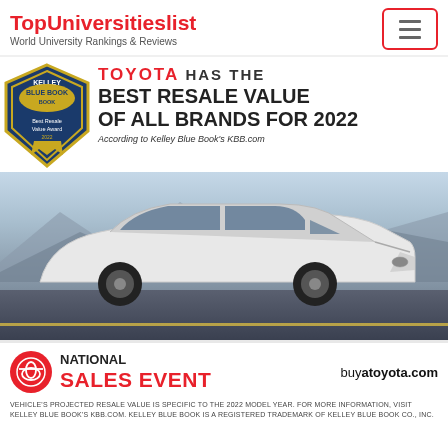TopUniversitieslist
World University Rankings & Reviews
[Figure (screenshot): Toyota advertisement: Kelley Blue Book Best Resale Value of All Brands for 2022. Shows KBB badge, headline text, white Toyota Camry car image, and National Sales Event banner with buyatoyota.com]
VEHICLE'S PROJECTED RESALE VALUE IS SPECIFIC TO THE 2022 MODEL YEAR. FOR MORE INFORMATION, VISIT KELLEY BLUE BOOK'S KBB.COM. KELLEY BLUE BOOK IS A REGISTERED TRADEMARK OF KELLEY BLUE BOOK CO., INC.